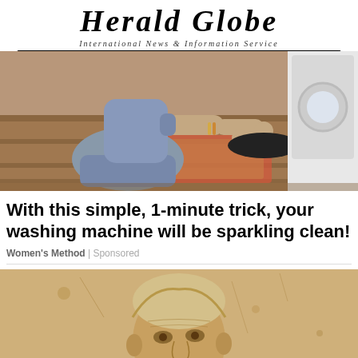Herald Globe — International News & Information Service
[Figure (photo): Person kneeling on floor next to a washing machine with a black frying pan]
With this simple, 1-minute trick, your washing machine will be sparkling clean!
Women's Method | Sponsored
[Figure (photo): Sepia-toned vintage portrait photograph of an elderly man]